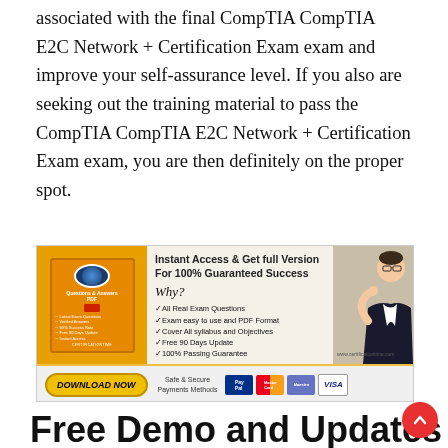associated with the final CompTIA CompTIA E2C Network + Certification Exam exam and improve your self-assurance level. If you also are seeking out the training material to pass the CompTIA CompTIA E2C Network + Certification Exam exam, you are then definitely on the proper spot.
[Figure (infographic): Advertisement banner for certificationtime.com showing a study guide box, exam features list, a person pointing, download now button, safe & secure payment methods (PayPal, MasterCard, Maestro, VISA). Title reads 'Instant Access & Get full Version For 100% Guaranteed Success'. Features: All Real Exam Questions, Exam easy to use and PDF Format, Cover All syllabus and Objectives, Free 90 Days Update, 100% Passing Guarantee.]
Free Demo and Updates